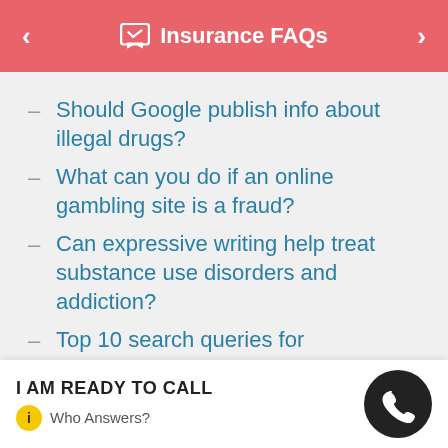Insurance FAQs
Should Google publish info about illegal drugs?
What can you do if an online gambling site is a fraud?
Can expressive writing help treat substance use disorders and addiction?
Top 10 search queries for prescription drugs online
Cigarettes, smoking and smokeless
I AM READY TO CALL
Who Answers?